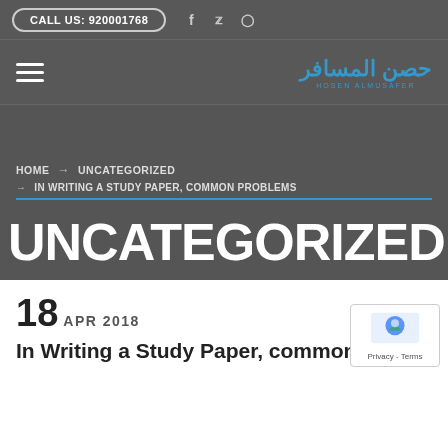CALL US: 920001768
[Figure (logo): Hosen Almusafer Arabic logo with stylized Arabic text and English subtitle]
HOME → UNCATEGORIZED → IN WRITING A STUDY PAPER, COMMON PROBLEMS
UNCATEGORIZED
18 APR 2018
In Writing a Study Paper, common